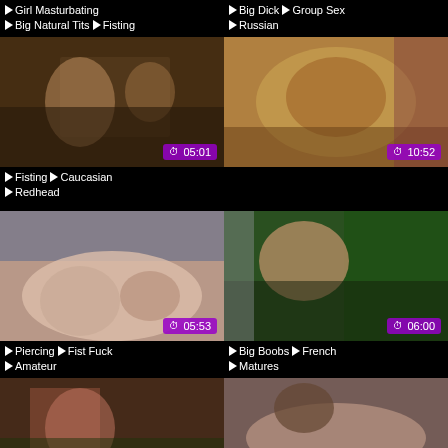Girl Masturbating  Big Natural Tits  Fisting
Big Dick  Group Sex  Russian
[Figure (photo): Video thumbnail showing adult content, duration 05:01]
[Figure (photo): Video thumbnail showing adult content, duration 10:52]
Fisting  Caucasian  Redhead
[Figure (photo): Video thumbnail showing adult content, duration 05:53]
[Figure (photo): Video thumbnail showing adult content, duration 06:00]
Piercing  Fist Fuck  Amateur
Big Boobs  French  Matures
[Figure (photo): Video thumbnail showing adult content, duration 10:17]
[Figure (photo): Video thumbnail showing adult content, duration 06:43]